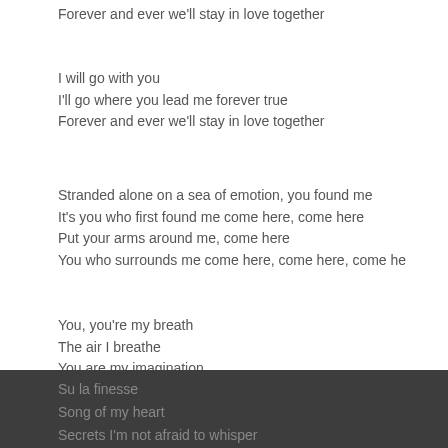Forever and ever we'll stay in love together
I will go with you
I'll go where you lead me forever true
Forever and ever we'll stay in love together
Stranded alone on a sea of emotion, you found me
It's you who first found me come here, come here
Put your arms around me, come here
You who surrounds me come here, come here, come he
You, you're my breath
The air I breathe
You are my imagination
Su la finesse
Song of my heart
Secrets I'm not afraid to whisper